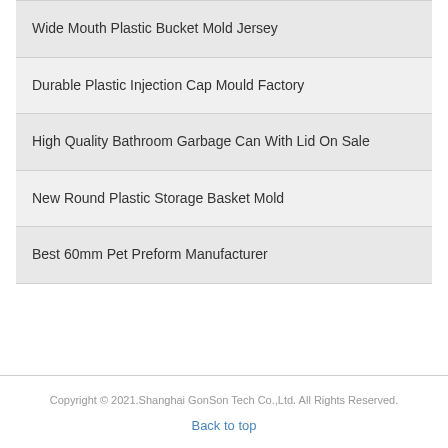Wide Mouth Plastic Bucket Mold Jersey
Durable Plastic Injection Cap Mould Factory
High Quality Bathroom Garbage Can With Lid On Sale
New Round Plastic Storage Basket Mold
Best 60mm Pet Preform Manufacturer
Copyright © 2021.Shanghai GonSon Tech Co.,Ltd. All Rights Reserved.
Back to top